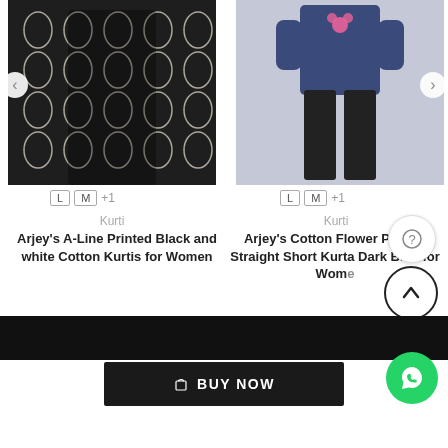[Figure (photo): Black and white printed kurti worn by a model]
[Figure (photo): Dark blue cotton flower printed short kurta worn by a model]
L  M  +1
L  M  +1
Kurti
Kurti
Arjey's A-Line Printed Black and white Cotton Kurtis for Women
Arjey's Cotton Flower Printed Straight Short Kurta Dark Blue for Women
₹499
₹499
[Figure (screenshot): Help/chat floating button with question mark]
[Figure (screenshot): Scroll to top floating button with upward arrow]
[Figure (screenshot): WhatsApp floating button green circle]
[Figure (screenshot): Black footer bar at bottom of page]
BUY NOW